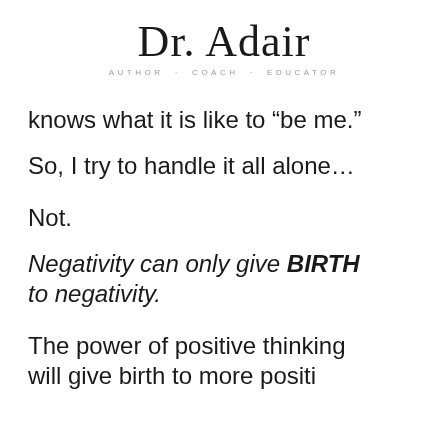Dr. Adair
AUTHOR · COACH · EDUCATOR
knows what it is like to “be me.”
So, I try to handle it all alone…
Not.
Negativity can only give BIRTH to negativity.
The power of positive thinking will give birth to more positivi...